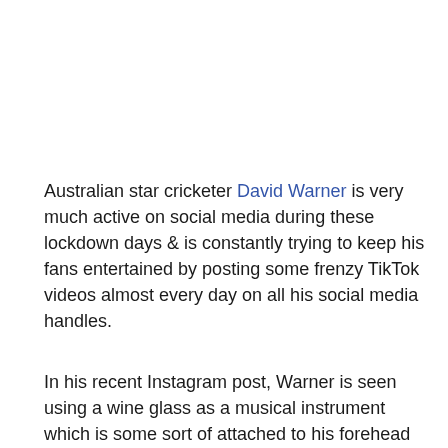Australian star cricketer David Warner is very much active on social media during these lockdown days & is constantly trying to keep his fans entertained by posting some frenzy TikTok videos almost every day on all his social media handles.
In his recent Instagram post, Warner is seen using a wine glass as a musical instrument which is some sort of attached to his forehead with the help of his cap. The batsman captioned his post as, “Back on popular demand. Give me